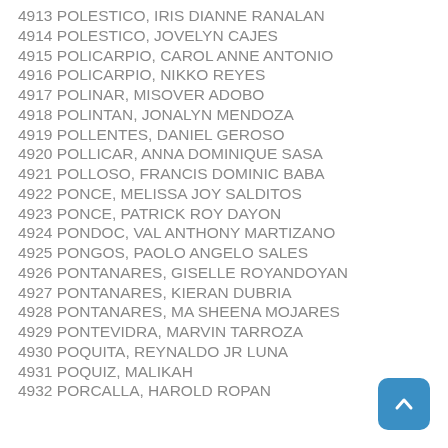4913 POLESTICO, IRIS DIANNE RANALAN
4914 POLESTICO, JOVELYN CAJES
4915 POLICARPIO, CAROL ANNE ANTONIO
4916 POLICARPIO, NIKKO REYES
4917 POLINAR, MISOVER ADOBO
4918 POLINTAN, JONALYN MENDOZA
4919 POLLENTES, DANIEL GEROSO
4920 POLLICAR, ANNA DOMINIQUE SASA
4921 POLLOSO, FRANCIS DOMINIC BABA
4922 PONCE, MELISSA JOY SALDITOS
4923 PONCE, PATRICK ROY DAYON
4924 PONDOC, VAL ANTHONY MARTIZANO
4925 PONGOS, PAOLO ANGELO SALES
4926 PONTANARES, GISELLE ROYANDOYAN
4927 PONTANARES, KIERAN DUBRIA
4928 PONTANARES, MA SHEENA MOJARES
4929 PONTEVIDRA, MARVIN TARROZA
4930 POQUITA, REYNALDO JR LUNA
4931 POQUIZ, MALIKAH
4932 PORCALLA, HAROLD ROPAN